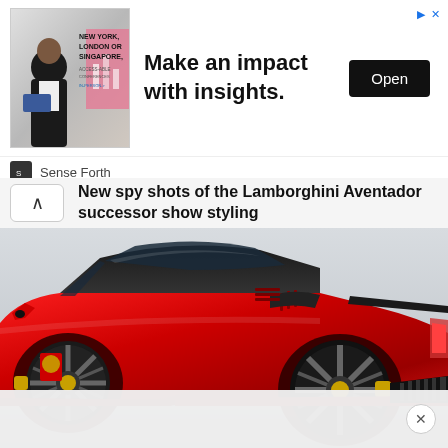[Figure (screenshot): Advertisement banner with image of a person, text 'NEW YORK, LONDON OR SINGAPORE,' and headline 'Make an impact with insights.' with an Open button and Sense Forth branding]
New spy shots of the Lamborghini Aventador successor show styling
[Figure (photo): A red Ferrari sports car photographed from a rear three-quarter angle against a light grey sky background, showing the rear diffuser, alloy wheels, and swooping roofline]